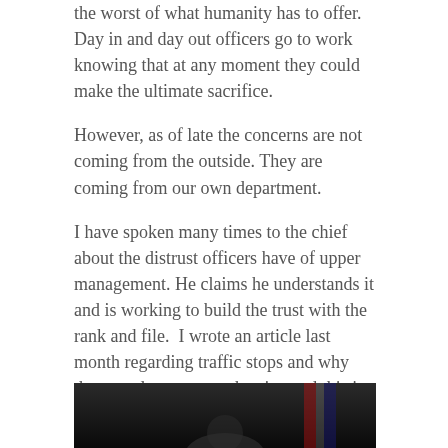the worst of what humanity has to offer. Day in and day out officers go to work knowing that at any moment they could make the ultimate sacrifice.
However, as of late the concerns are not coming from the outside. They are coming from our own department.
I have spoken many times to the chief about the distrust officers have of upper management. He claims he understands it and is working to build the trust with the rank and file.  I wrote an article last month regarding traffic stops and why they are down across the city, and this is true with most police agencies.
In this day and time when everyone wants “transparency,” we see that it only goes one direction. The department started this Being First Program to change
. . .  READ MORE
[Figure (photo): Dark photo of a person, partially visible at the bottom of the page]